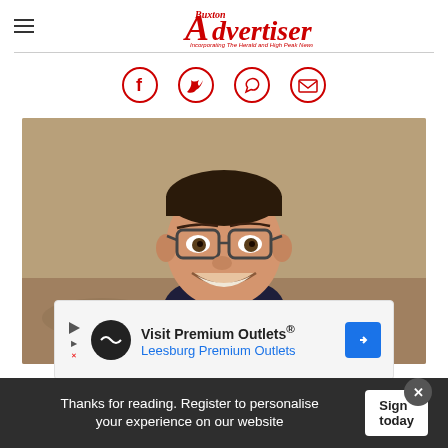Buxton Advertiser — Incorporating The Herald and High Peak News
[Figure (logo): Buxton Advertiser newspaper logo in red]
[Figure (infographic): Social sharing icons row: Facebook, Twitter, WhatsApp, Email — all red outlined circles]
[Figure (photo): Smiling young boy wearing glasses and a dark t-shirt, photographed outdoors on a sandy/gravelly background]
[Figure (other): Advertisement banner: Visit Premium Outlets® — Leesburg Premium Outlets]
Thanks for reading. Register to personalise your experience on our website
Sign in today